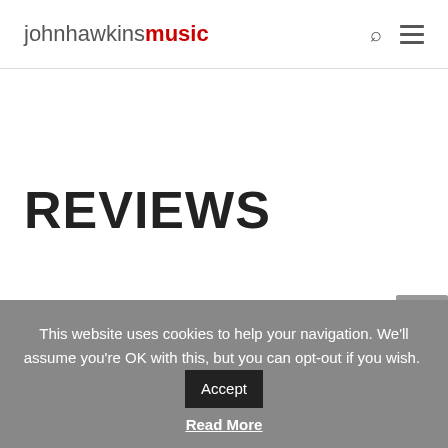johnhawkinsmusic
REVIEWS
This website uses cookies to help your navigation. We'll assume you're OK with this, but you can opt-out if you wish.
Read More